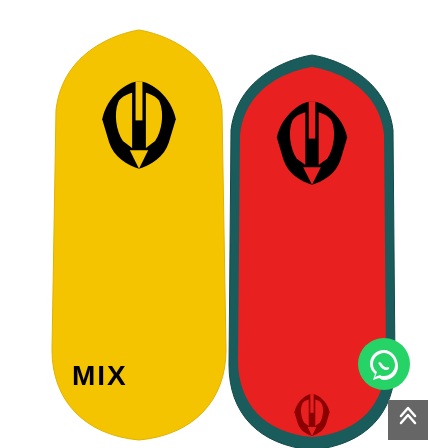[Figure (photo): Two bodyboards side by side on a white background. Left board is solid yellow with a black helmet/warrior logo near the top center and the text 'MIX' in black near the lower left. Right board is red with a dark teal/green border and has the same black helmet/warrior logo near the top center and a smaller version of the logo near the bottom center. A green WhatsApp icon button and a grey scroll-to-top arrow button appear in the bottom-right corner overlay.]